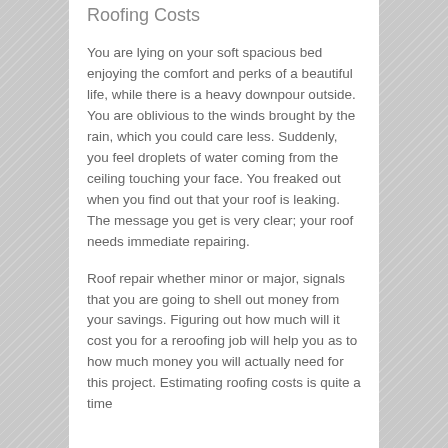Roofing Costs
You are lying on your soft spacious bed enjoying the comfort and perks of a beautiful life, while there is a heavy downpour outside. You are oblivious to the winds brought by the rain, which you could care less. Suddenly, you feel droplets of water coming from the ceiling touching your face. You freaked out when you find out that your roof is leaking. The message you get is very clear; your roof needs immediate repairing.
Roof repair whether minor or major, signals that you are going to shell out money from your savings. Figuring out how much will it cost you for a reroofing job will help you as to how much money you will actually need for this project. Estimating roofing costs is quite a time